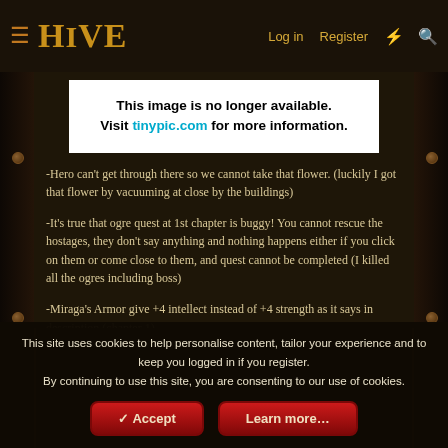HIVE — Log in  Register
[Figure (screenshot): Image placeholder: 'This image is no longer available. Visit tinypic.com for more information.']
-Hero can't get through there so we cannot take that flower. (luckily I got that flower by vacuuming at close by the buildings)
-It's true that ogre quest at 1st chapter is buggy! You cannot rescue the hostages, they don't say anything and nothing happens either if you click on them or come close to them, and quest cannot be completed (I killed all the ogres including boss)
-Miraga's Armor give +4 intellect instead of +4 strength as it says in description (chapter 1)
Questions/Important Notes:
This site uses cookies to help personalise content, tailor your experience and to keep you logged in if you register.
By continuing to use this site, you are consenting to our use of cookies.